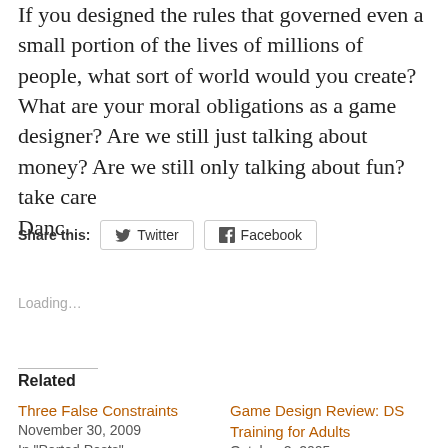If you designed the rules that governed even a small portion of the lives of millions of people, what sort of world would you create? What are your moral obligations as a game designer? Are we still just talking about money? Are we still only talking about fun?
take care
Danc.
Share this: Twitter Facebook
Loading...
Related
Three False Constraints
November 30, 2009
In "Ported Posts"
Game Design Review: DS Training for Adults
October 2, 2005
In "Ported Posts"